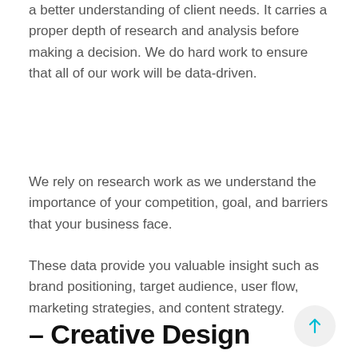a better understanding of client needs. It carries a proper depth of research and analysis before making a decision. We do hard work to ensure that all of our work will be data-driven.
We rely on research work as we understand the importance of your competition, goal, and barriers that your business face.
These data provide you valuable insight such as brand positioning, target audience, user flow, marketing strategies, and content strategy.
– Creative Design